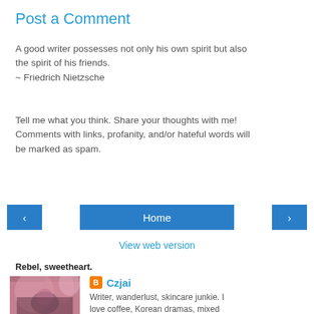Post a Comment
A good writer possesses not only his own spirit but also the spirit of his friends.
~ Friedrich Nietzsche
Tell me what you think. Share your thoughts with me!
Comments with links, profanity, and/or hateful words will be marked as spam.
‹   Home   ›   View web version
Rebel, sweetheart.
[Figure (photo): Profile photo of a woman in front of pink flowering trees]
Czjai
Writer, wanderlust, skincare junkie. I love coffee, Korean dramas, mixed martial arts, and Bruce Lee.
View my complete profile